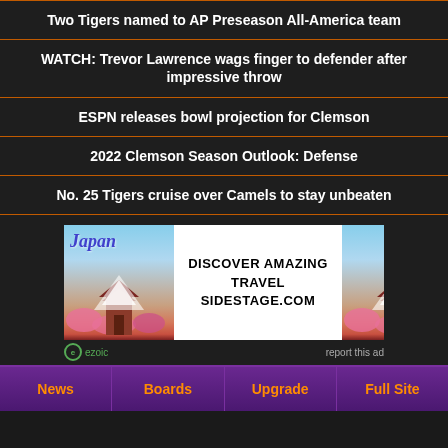Two Tigers named to AP Preseason All-America team
WATCH: Trevor Lawrence wags finger to defender after impressive throw
ESPN releases bowl projection for Clemson
2022 Clemson Season Outlook: Defense
No. 25 Tigers cruise over Camels to stay unbeaten
[Figure (other): Japan travel advertisement banner showing pagoda images on left and right with text DISCOVER AMAZING TRAVEL SIDESTAGE.COM in center]
News | Boards | Upgrade | Full Site